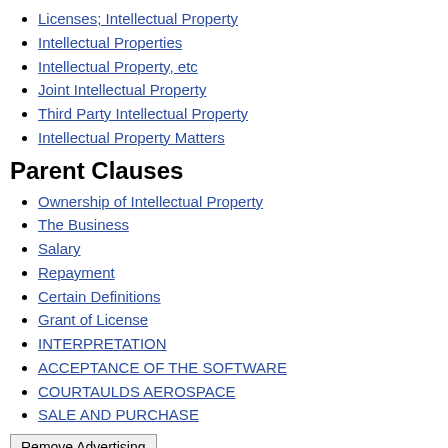Licenses; Intellectual Property
Intellectual Properties
Intellectual Property, etc
Joint Intellectual Property
Third Party Intellectual Property
Intellectual Property Matters
Parent Clauses
Ownership of Intellectual Property
The Business
Salary
Repayment
Certain Definitions
Grant of License
INTERPRETATION
ACCEPTANCE OF THE SOFTWARE
COURTAULDS AEROSPACE
SALE AND PURCHASE
Remove Advertising
Sub-Clauses